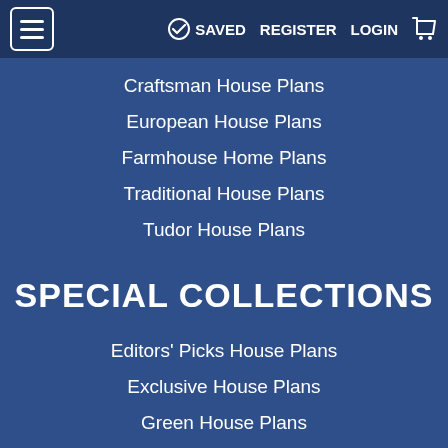☰  SAVED  REGISTER  LOGIN  🛒
Craftsman House Plans
European House Plans
Farmhouse Home Plans
Traditional House Plans
Tudor House Plans
SPECIAL COLLECTIONS
Editors' Picks House Plans
Exclusive House Plans
Green House Plans
Luxury House Plans
Newest House Plans
Starter House Plans
Vacation House Plans